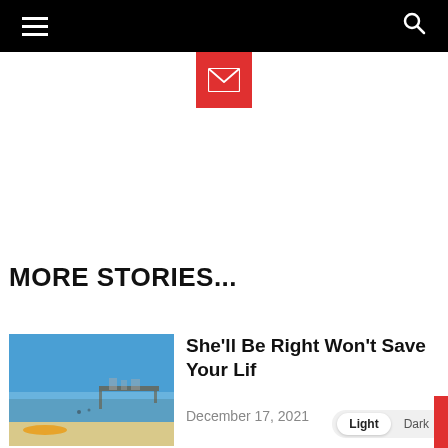Navigation header with hamburger menu and search icon
[Figure (logo): Red square with white envelope/mail icon]
MORE STORIES...
[Figure (photo): Beach scene with blue sky, calm water, pier in background, and a kayak on the sand]
She'll Be Right Won't Save Your Lif
December 17, 2021